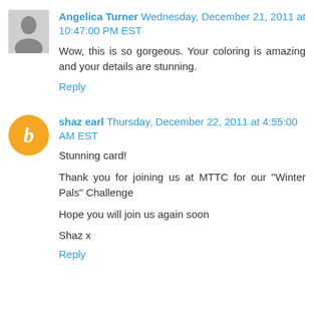[Figure (photo): Avatar photo of Angelica Turner - grayscale profile photo of a person]
Angelica Turner Wednesday, December 21, 2011 at 10:47:00 PM EST
Wow, this is so gorgeous. Your coloring is amazing and your details are stunning.
Reply
[Figure (logo): Blogger 'b' logo icon - orange circle with white italic b]
shaz earl Thursday, December 22, 2011 at 4:55:00 AM EST
Stunning card!
Thank you for joining us at MTTC for our "Winter Pals" Challenge
Hope you will join us again soon
Shaz x
Reply